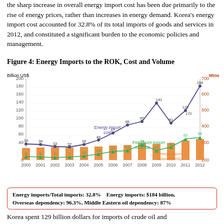the sharp increase in overall energy import cost has been due primarily to the rise of energy prices, rather than increases in energy demand. Korea's energy import cost accounted for 32.8% of its total imports of goods and services in 2012, and constituted a significant burden to the economic policies and management.
Figure 4: Energy Imports to the ROK, Cost and Volume
[Figure (line-chart): Energy Imports to the ROK, Cost and Volume]
Energy imports/Total imports: 32.8%    Energy imports: $184 billion, Overseas dependency: 96.3%, Middle Eastern oil dependency: 87%
Korea spent 129 billion dollars for imports of crude oil and